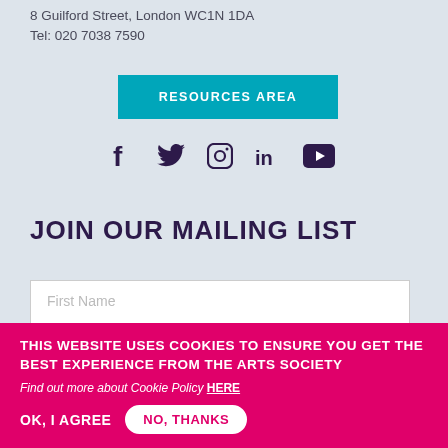8 Guilford Street, London WC1N 1DA
Tel: 020 7038 7590
[Figure (infographic): Teal/cyan button labeled RESOURCES AREA]
[Figure (infographic): Social media icons: Facebook, Twitter, Instagram, LinkedIn, YouTube in dark purple]
JOIN OUR MAILING LIST
[Figure (infographic): Form field with placeholder text: First Name]
[Figure (infographic): Form field with placeholder text: Last Name]
THIS WEBSITE USES COOKIES TO ENSURE YOU GET THE BEST EXPERIENCE FROM THE ARTS SOCIETY
Find out more about Cookie Policy HERE
OK, I AGREE
NO, THANKS